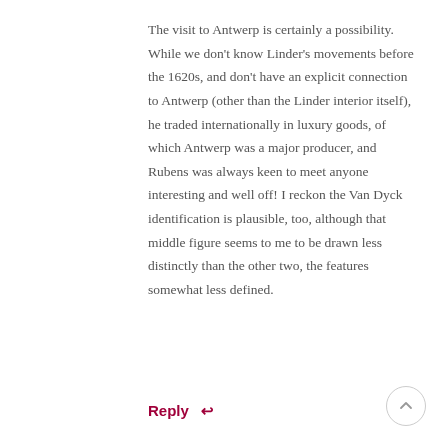The visit to Antwerp is certainly a possibility. While we don't know Linder's movements before the 1620s, and don't have an explicit connection to Antwerp (other than the Linder interior itself), he traded internationally in luxury goods, of which Antwerp was a major producer, and Rubens was always keen to meet anyone interesting and well off! I reckon the Van Dyck identification is plausible, too, although that middle figure seems to me to be drawn less distinctly than the other two, the features somewhat less defined.
Reply ↩